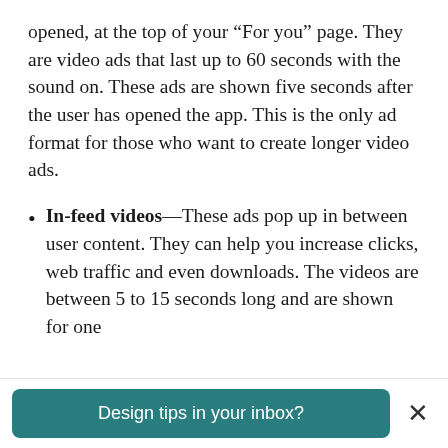opened, at the top of your “For you” page. They are video ads that last up to 60 seconds with the sound on. These ads are shown five seconds after the user has opened the app. This is the only ad format for those who want to create longer video ads.
In-feed videos—These ads pop up in between user content. They can help you increase clicks, web traffic and even downloads. The videos are between 5 to 15 seconds long and are shown for one
Design tips in your inbox?